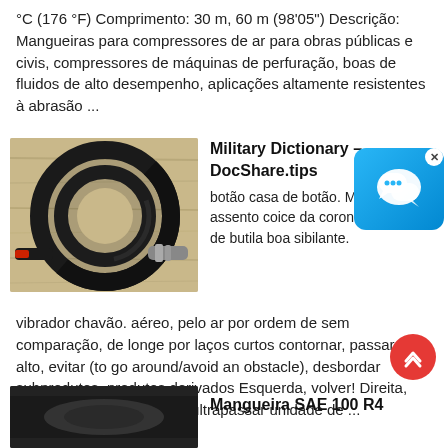°C (176 °F) Comprimento: 30 m, 60 m (98'05") Descrição: Mangueiras para compressores de ar para obras públicas e civis, compressores de máquinas de perfuração, boas de fluidos de alto desempenho, aplicações altamente resistentes à abrasão ...
[Figure (photo): Black rubber hose coiled on a wooden surface with metal fittings at each end, one with a red cap]
Military Dictionary – DocShare.tips
botão casa de botão. Mochila de assento coice da coronha borracha de butila boa sibilante.
vibrador chavão. aéreo, pelo ar por ordem de sem comparação, de longe por laços curtos contornar, passar por alto, evitar (to go around/avoid an obstacle), desbordar subprodutos, produtos derivados Esquerda, volver! Direita, volver! desviar, contornar, ultrapassar unidade de ...
[Figure (photo): Dark colored hose partially visible at bottom of page]
Mangueira SAE 100 R4